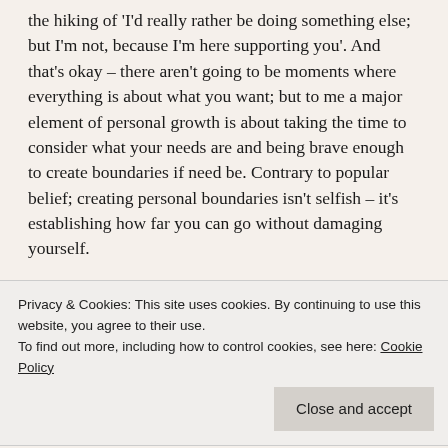the hiking of 'I'd really rather be doing something else; but I'm not, because I'm here supporting you'. And that's okay – there aren't going to be moments where everything is about what you want; but to me a major element of personal growth is about taking the time to consider what your needs are and being brave enough to create boundaries if need be. Contrary to popular belief; creating personal boundaries isn't selfish – it's establishing how far you can go without damaging yourself.
Creating personal growth journeys is encouraged in ways that you probably won't even link to in your life;
Privacy & Cookies: This site uses cookies. By continuing to use this website, you agree to their use.
To find out more, including how to control cookies, see here: Cookie Policy
didn't have any (or, to live in a COVID free world